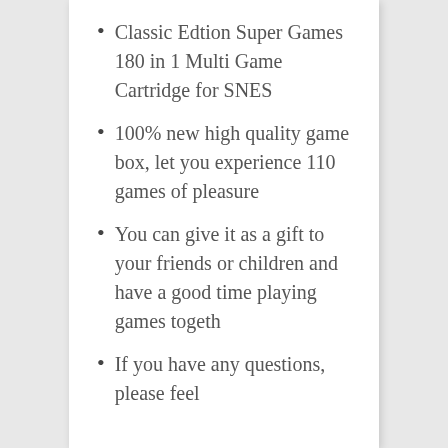Classic Edtion Super Games 180 in 1 Multi Game Cartridge for SNES
100% new high quality game box, let you experience 110 games of pleasure
You can give it as a gift to your friends or children and have a good time playing games togeth
If you have any questions, please feel [continues]